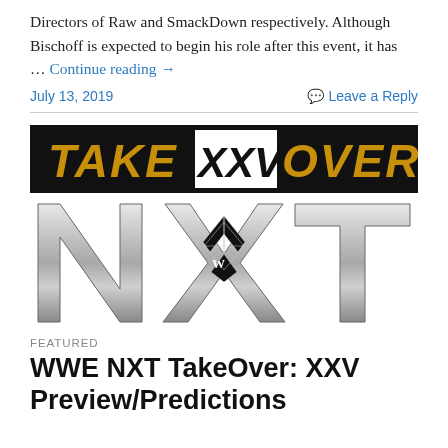Directors of Raw and SmackDown respectively. Although Bischoff is expected to begin his role after this event, it has
… Continue reading →
July 13, 2019
Leave a Reply
[Figure (logo): NXT TakeOver: XXV logo banner with gold lettering on black background and large silver NXT letters below with WWE logo in center]
FEATURED
WWE NXT TakeOver: XXV Preview/Predictions